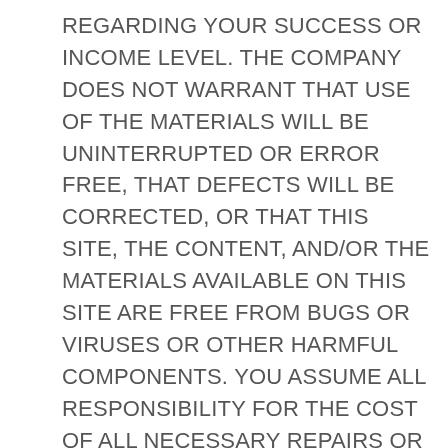REGARDING YOUR SUCCESS OR INCOME LEVEL. THE COMPANY DOES NOT WARRANT THAT USE OF THE MATERIALS WILL BE UNINTERRUPTED OR ERROR FREE, THAT DEFECTS WILL BE CORRECTED, OR THAT THIS SITE, THE CONTENT, AND/OR THE MATERIALS AVAILABLE ON THIS SITE ARE FREE FROM BUGS OR VIRUSES OR OTHER HARMFUL COMPONENTS. YOU ASSUME ALL RESPONSIBILITY FOR THE COST OF ALL NECESSARY REPAIRS OR CORRECTIONS. THE COMPANY SHALL NOT BE RESPONSIBLE FOR ANY PERFORMANCE OR SERVICE PROBLEMS CAUSED BY ANY THIRD PARTY WEBSITE OR THIRD PARTY SERVICE PROVIDER. ANY SUCH PROBLEM SHALL BE GOVERNED SOLELY BY THE AGREEMENT